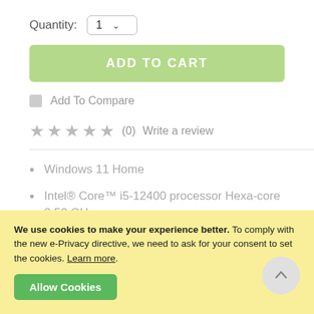Quantity: 1
ADD TO CART
Add To Compare
★★★★★ (0) Write a review
Windows 11 Home
Intel® Core™ i5-12400 processor Hexa-core 2.50 GHz
8 GB, DDR4 SDRAM
We use cookies to make your experience better. To comply with the new e-Privacy directive, we need to ask for your consent to set the cookies. Learn more.
Allow Cookies